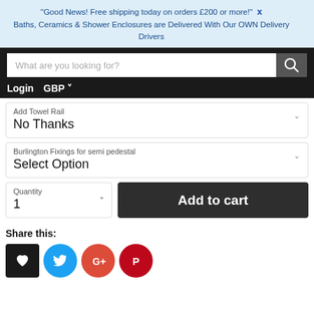"Good News! Free shipping today on orders £200 or more!"  X
Baths, Ceramics & Shower Enclosures are Delivered With Our OWN Delivery Drivers
[Figure (screenshot): E-commerce website navigation bar with search input and Login/GBP links on dark background]
Add Towel Rail
No Thanks
Burlington Fixings for semi pedestal
Select Option
Quantity
1
Add to cart
Share this:
[Figure (infographic): Social sharing icons: Fancy (heart), Twitter, Google+, Pinterest]